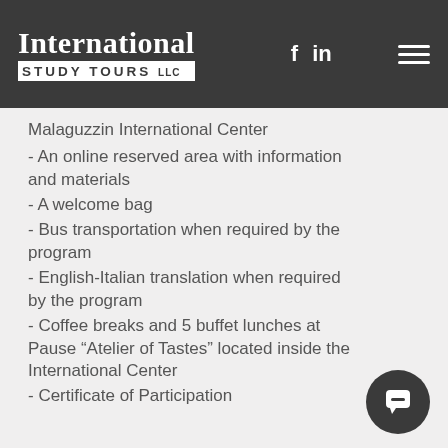International STUDY TOURS LLC
Malaguzzin International Center
- An online reserved area with information and materials
- A welcome bag
- Bus transportation when required by the program
- English-Italian translation when required by the program
- Coffee breaks and 5 buffet lunches at Pause “Atelier of Tastes” located inside the International Center
- Certificate of Participation